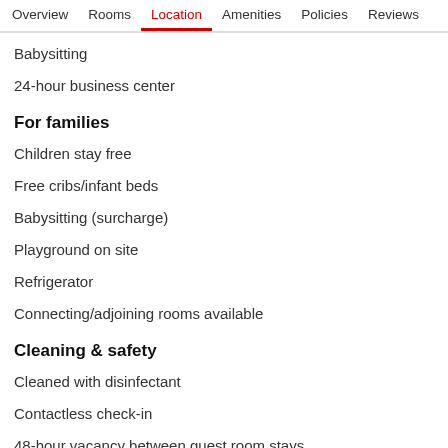Overview  Rooms  Location  Amenities  Policies  Reviews
Babysitting
24-hour business center
For families
Children stay free
Free cribs/infant beds
Babysitting (surcharge)
Playground on site
Refrigerator
Connecting/adjoining rooms available
Cleaning & safety
Cleaned with disinfectant
Contactless check-in
48-hour vacancy between guest room stays
Hand sanitiser provided